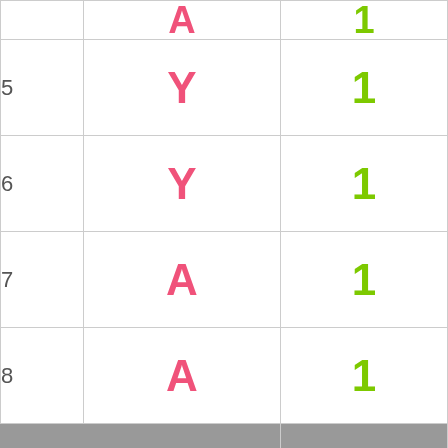| # | Letter | Value |
| --- | --- | --- |
|  | A | 1 |
| 5 | Y | 1 |
| 6 | Y | 1 |
| 7 | A | 1 |
| 8 | A | 1 |
|  | Numerology of name Thurayyaa | 4 (subtotal of 22) |
Home  Boys  Girls  Celebrity  More